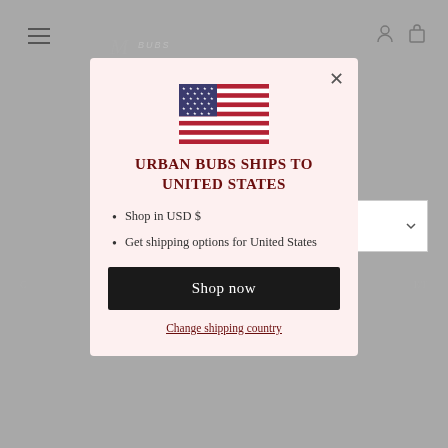[Figure (screenshot): Background of a website for Urban Bubs with grey overlay, showing navigation menu icon, logo, cart/user icons, a dropdown element, and partial text]
[Figure (illustration): United States flag SVG illustration]
URBAN BUBS SHIPS TO UNITED STATES
Shop in USD $
Get shipping options for United States
Shop now
Change shipping country